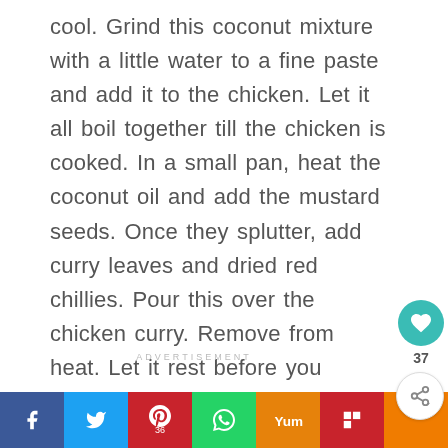cool. Grind this coconut mixture with a little water to a fine paste and add it to the chicken. Let it all boil together till the chicken is cooked. In a small pan, heat the coconut oil and add the mustard seeds. Once they splutter, add curry leaves and dried red chillies. Pour this over the chicken curry. Remove from heat. Let it rest before you serve.
ADVERTISEMENT
[Figure (infographic): Social sharing bar at the bottom with Facebook, Twitter, Pinterest, WhatsApp, Yummly, Flipboard, and another orange button icons. A teal heart/like button with count 37 and a share button on the right side.]